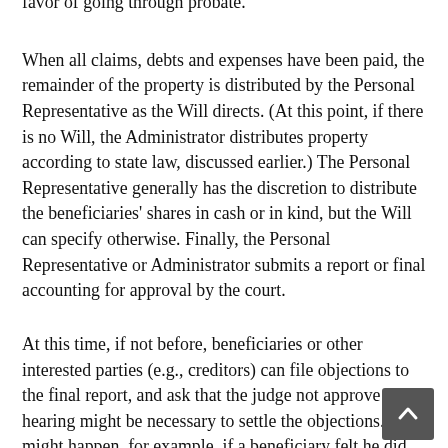favor of going through probate.
When all claims, debts and expenses have been paid, the remainder of the property is distributed by the Personal Representative as the Will directs. (At this point, if there is no Will, the Administrator distributes property according to state law, discussed earlier.) The Personal Representative generally has the discretion to distribute the beneficiaries' shares in cash or in kind, but the Will can specify otherwise. Finally, the Personal Representative or Administrator submits a report or final accounting for approval by the court.
At this time, if not before, beneficiaries or other interested parties (e.g., creditors) can file objections to the final report, and ask that the judge not approve it. A hearing might be necessary to settle the objections. This might happen, for example, if a beneficiary felt he did not, in fact, receive all to which he was entitled under the Will.
The Personal Representative is entitled to reasonable compensation, often limited to a certain percentage (e.g., 3%) of